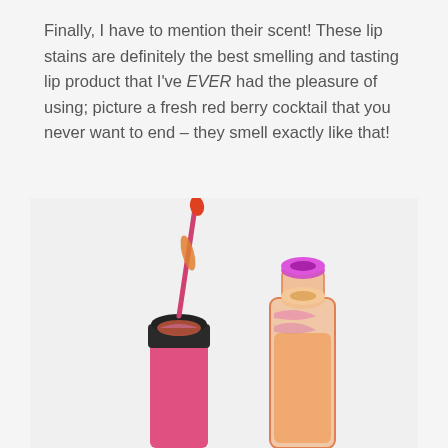Finally, I have to mention their scent! These lip stains are definitely the best smelling and tasting lip product that I've EVER had the pleasure of using; picture a fresh red berry cocktail that you never want to end – they smell exactly like that!
[Figure (photo): Two lip stain bottles open, one on the left with a pink/orange wand applicator pulled out showing orange product, and one on the right with a magenta/pink open bottle top, both with colorful swirled contents visible.]